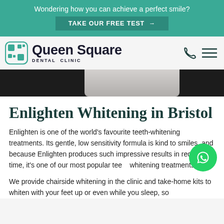Wondering how you can achieve a perfect smile?
TAKE OUR FREE TEST →
[Figure (logo): Queen Square Dental Clinic logo with QS icon in teal square and bold black text]
[Figure (photo): Partial grayscale photo of a person smiling, cropped hero banner]
Enlighten Whitening in Bristol
Enlighten is one of the world's favourite teeth-whitening treatments. Its gentle, low sensitivity formula is kind to smiles, and because Enlighten produces such impressive results in record time, it's one of our most popular teeth whitening treatments.
We provide chairside whitening in the clinic and take-home kits to whiten with your feet up or even while you sleep, so